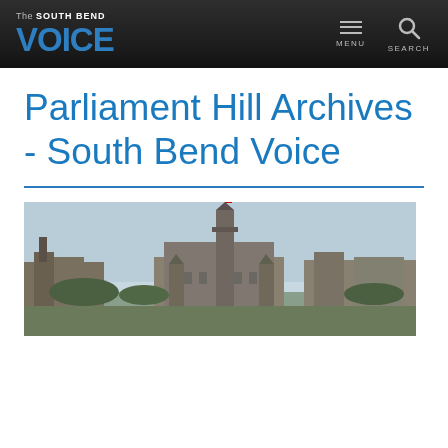The SOUTH BEND VOICE — MENU | SEARCH
Parliament Hill Archives - South Bend Voice
[Figure (photo): Panoramic photograph of Parliament Hill in Ottawa, Canada, showing the Gothic Revival Peace Tower and Centre Block buildings against a pale blue sky, with trees and surrounding buildings visible.]